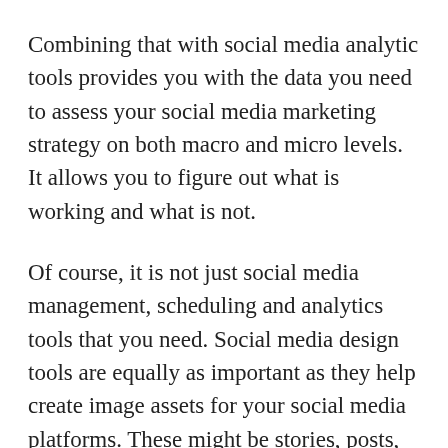Combining that with social media analytic tools provides you with the data you need to assess your social media marketing strategy on both macro and micro levels. It allows you to figure out what is working and what is not.
Of course, it is not just social media management, scheduling and analytics tools that you need. Social media design tools are equally as important as they help create image assets for your social media platforms. These might be stories, posts, cover images and banners, and animated GIFS or videos that can make your content more engaging